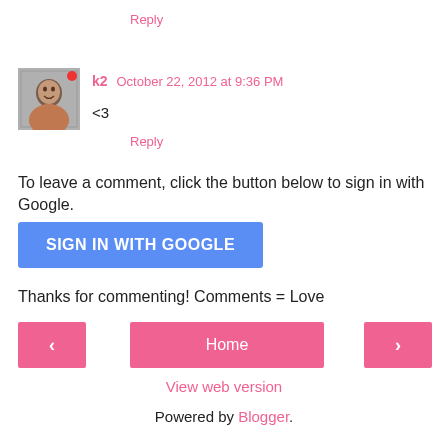Reply
[Figure (photo): Avatar photo of user k2, a woman smiling]
k2  October 22, 2012 at 9:36 PM
<3
Reply
To leave a comment, click the button below to sign in with Google.
SIGN IN WITH GOOGLE
Thanks for commenting! Comments = Love
‹
Home
›
View web version
Powered by Blogger.